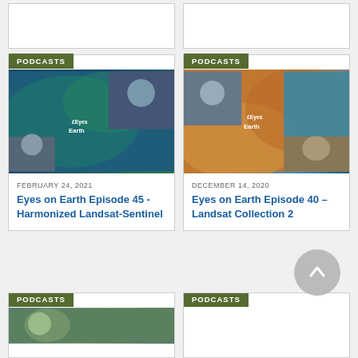[Figure (screenshot): Top partial card row showing two partially visible podcast cards]
PODCASTS
[Figure (photo): Eyes on Earth Episode 45 podcast thumbnail with aerial image and person photos]
FEBRUARY 24, 2021
Eyes on Earth Episode 45 - Harmonized Landsat-Sentinel
PODCASTS
[Figure (photo): Eyes on Earth Episode 40 podcast thumbnail with desert landscape and person photo]
DECEMBER 14, 2020
Eyes on Earth Episode 40 – Landsat Collection 2
PODCASTS
[Figure (photo): Bottom left podcast thumbnail with person in forest setting]
PODCASTS